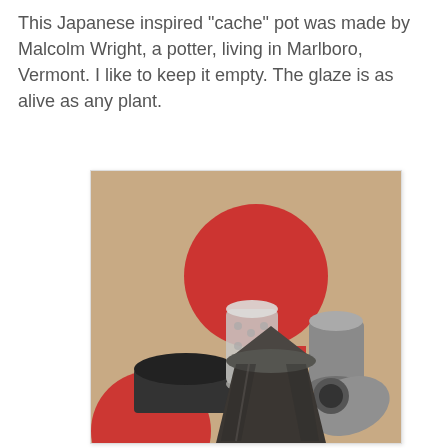This Japanese inspired "cache" pot was made by Malcolm Wright, a potter, living in Marlboro, Vermont.  I like to keep it empty.   The glaze is as alive as any plant.
[Figure (photo): A photo of several ceramic/pottery pots arranged on a burlap background with large red circle designs. In the center foreground is a dark square-shaped Japanese-style cache pot. Surrounding it are other pots: a frosted dotted cylinder, a small dark wide ring, a grey cylindrical pot, and a grey pot on its side. The background features a Japanese-flag inspired design with large red circles on tan/burlap fabric.]